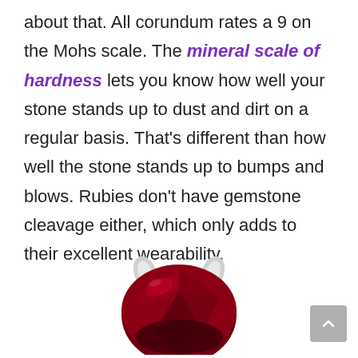about that. All corundum rates a 9 on the Mohs scale. The mineral scale of hardness lets you know how well your stone stands up to dust and dirt on a regular basis. That's different than how well the stone stands up to bumps and blows. Rubies don't have gemstone cleavage either, which only adds to their excellent wearability.
[Figure (photo): A deep red ruby gemstone set in a silver ring mount, partially visible at the bottom of the page.]